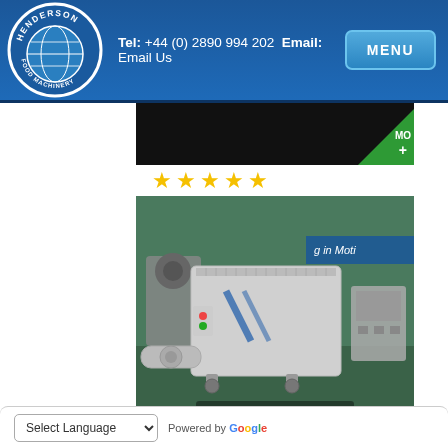Henderson Food Machinery — Tel: +44 (0) 2890 994 202  Email: Email Us
[Figure (logo): Henderson Food Machinery circular logo with globe and text]
[Figure (photo): Thompson 3200 Mixer Grinder machine photograph with 5-star rating]
Thompson 3200 Mixer Grinder
Thompson Mixer Grinder 3200
Select Language  Powered by Google